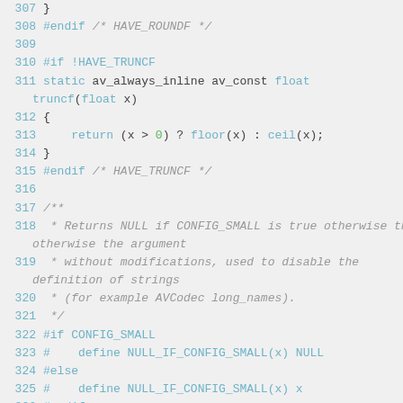[Figure (screenshot): Source code listing in C showing lines 307-327 with syntax highlighting. Background is light gray, line numbers in blue, keywords and preprocessor directives in blue, numeric literals in green, comments in gray italic. Code includes closing brace of roundf function, truncf inline function definition, and NULL_IF_CONFIG_SMALL macro definitions with documentation comment block.]